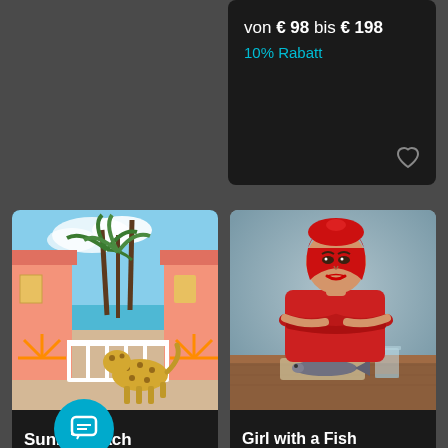von € 98 bis € 198
10% Rabatt
[Figure (photo): Photo of a cheetah on a porch of colorful pink/orange beach huts with palm trees]
Sunny Beach
Fuentes
€ 459 bis € 1.399
[Figure (photo): Portrait of a woman in red dress and red headscarf with arms folded, fish on the table in front of her]
Girl with a Fish
Andrey Yakovlev & ...
€ 509